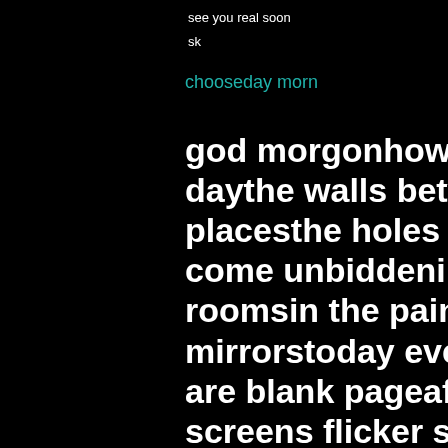see you real soon
sk
chooseday morn
god morgonhow are you?here, its daythe walls between the worlds w placesthe holes are obviousmemo come unbiddenin the warm dark s roomsin the paintings hanging do mirrorstoday everyones on their o are blank pageafter blank pagethe screens flicker soothing patternalo worldmy memories fill up teeming remember days like this1959 infan outsidethe smell of banana-y lunc outside rustling and drippingthe w